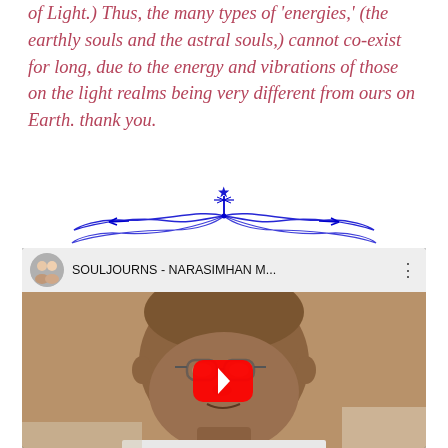of Light.) Thus, the many types of 'energies,' (the earthly souls and the astral souls,) cannot co-exist for long, due to the energy and vibrations of those on the light realms being very different from ours on Earth. thank you.
[Figure (illustration): Decorative blue divider ornament with wing-like swooshes and a central star/asterisk shape]
[Figure (screenshot): YouTube video embed showing a man's face with glasses, channel name 'SOULJOURNS - NARASIMHAN M...' with a red play button overlay and channel thumbnail of two people]